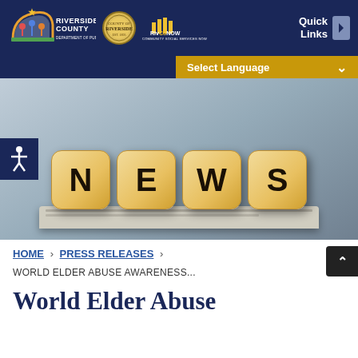Riverside County Department of Public Social Services | RivCoNOW | Quick Links
[Figure (screenshot): Website header with Riverside County DPSS logo, County seal, RivCoNOW logo, and Quick Links navigation button on dark navy background]
[Figure (photo): Four wooden dice spelling NEWS sitting on top of a newspaper, with blue-gray gradient background]
HOME › PRESS RELEASES ›
WORLD ELDER ABUSE AWARENESS...
World Elder Abuse